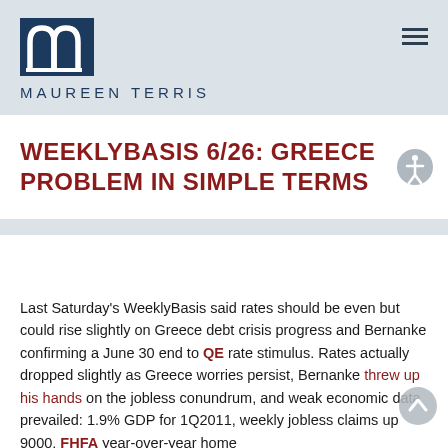MAUREEN TERRIS
WEEKLYBASIS 6/26: GREECE PROBLEM IN SIMPLE TERMS
Last Saturday's WeeklyBasis said rates should be even but could rise slightly on Greece debt crisis progress and Bernanke confirming a June 30 end to QE rate stimulus. Rates actually dropped slightly as Greece worries persist, Bernanke threw up his hands on the jobless conundrum, and weak economic data prevailed: 1.9% GDP for 1Q2011, weekly jobless claims up 9000, FHFA year-over-year home